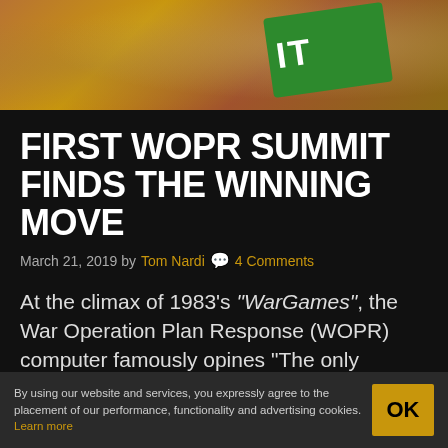[Figure (photo): Photo banner showing a wet/reflective surface with a green badge/sign visible in the upper right corner, warm brown and gold tones]
FIRST WOPR SUMMIT FINDS THE WINNING MOVE
March 21, 2019 by Tom Nardi 💬 4 Comments
At the climax of 1983's "WarGames", the War Operation Plan Response (WOPR) computer famously opines "The only winning move is not to play" when presented with a barrage of
By using our website and services, you expressly agree to the placement of our performance, functionality and advertising cookies. Learn more